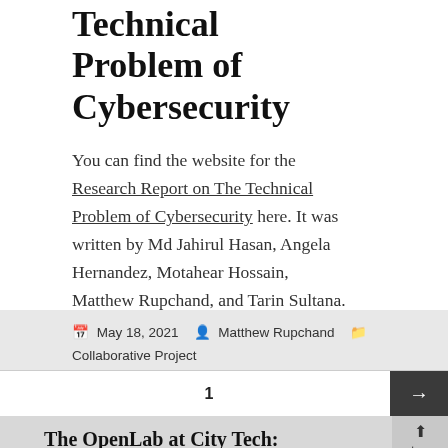Technical Problem of Cybersecurity
You can find the website for the Research Report on The Technical Problem of Cybersecurity here. It was written by Md Jahirul Hasan, Angela Hernandez, Motahear Hossain, Matthew Rupchand, and Tarin Sultana.
May 18, 2021   Matthew Rupchand   Collaborative Project   Leave a comment
1
Proudly powered by WordPress
The OpenLab at City Tech: